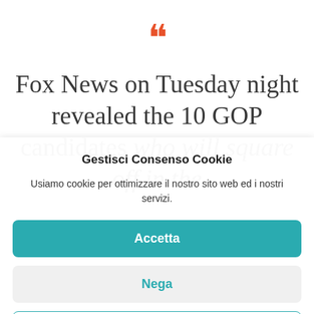““ Fox News on Tuesday night revealed the 10 GOP candidates who will square off in the
Gestisci Consenso Cookie
Usiamo cookie per ottimizzare il nostro sito web ed i nostri servizi.
Accetta
Nega
Preferenze